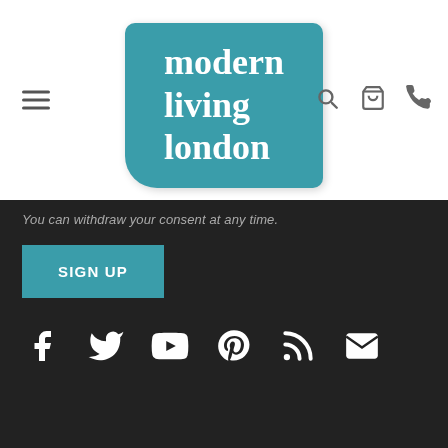[Figure (logo): Modern Living London logo — teal rounded square with white serif text reading 'modern living london']
You can withdraw your consent at any time.
SIGN UP
[Figure (infographic): Social media icons row: Facebook, Twitter, YouTube, Pinterest, RSS, Email — white on dark background]